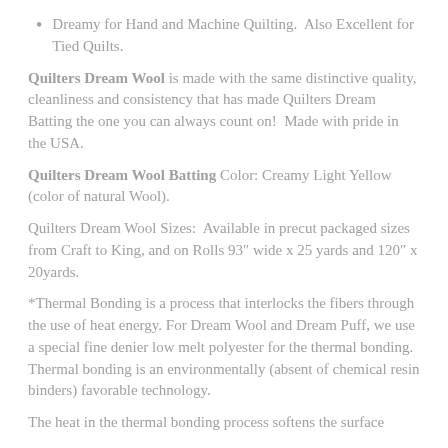Dreamy for Hand and Machine Quilting.  Also Excellent for Tied Quilts.
Quilters Dream Wool is made with the same distinctive quality, cleanliness and consistency that has made Quilters Dream Batting the one you can always count on!  Made with pride in the USA.
Quilters Dream Wool Batting Color: Creamy Light Yellow (color of natural Wool).
Quilters Dream Wool Sizes:  Available in precut packaged sizes from Craft to King, and on Rolls 93″ wide x 25 yards and 120″ x 20yards.
*Thermal Bonding is a process that interlocks the fibers through the use of heat energy. For Dream Wool and Dream Puff, we use a special fine denier low melt polyester for the thermal bonding. Thermal bonding is an environmentally (absent of chemical resin binders) favorable technology.
The heat in the thermal bonding process softens the surface